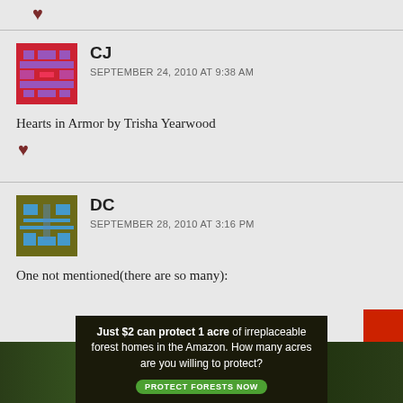♥
CJ
SEPTEMBER 24, 2010 AT 9:38 AM
Hearts in Armor by Trisha Yearwood
♥
DC
SEPTEMBER 28, 2010 AT 3:16 PM
One not mentioned(there are so many):
Just $2 can protect 1 acre of irreplaceable forest homes in the Amazon. How many acres are you willing to protect?
PROTECT FORESTS NOW